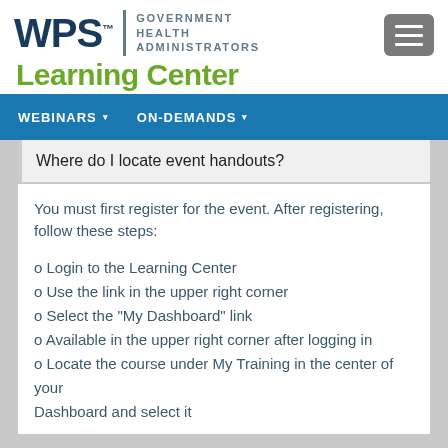[Figure (logo): WPS Government Health Administrators logo with Learning Center text in green]
WEBINARS ▾   ON-DEMANDS ▾
Where do I locate event handouts?
You must first register for the event. After registering, follow these steps:
o Login to the Learning Center
o Use the link in the upper right corner
o Select the "My Dashboard" link
o Available in the upper right corner after logging in
o Locate the course under My Training in the center of your
Dashboard and select it